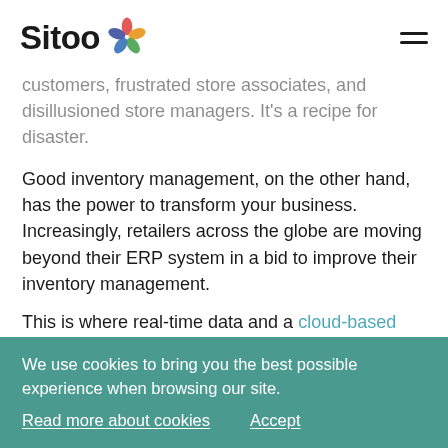Sitoo
customers, frustrated store associates, and disillusioned store managers. It's a recipe for disaster.
Good inventory management, on the other hand, has the power to transform your business. Increasingly, retailers across the globe are moving beyond their ERP system in a bid to improve their inventory management.
This is where real-time data and a cloud-based mPOS system come in – with a cloud-based platform, real-time retail is made possible and the master of the stock isn't your ERP system, it's your stores. In fact, with a mPOS system,
We use cookies to bring you the best possible experience when browsing our site.
Read more about cookies   Accept